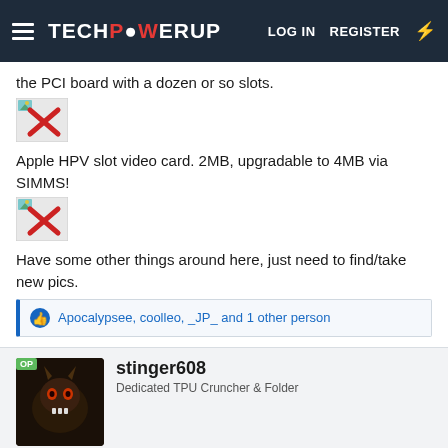TechPowerUp — LOG IN  REGISTER
the PCI board with a dozen or so slots.
[Figure (other): Broken/missing image placeholder with red X]
Apple HPV slot video card. 2MB, upgradable to 4MB via SIMMS!
[Figure (other): Broken/missing image placeholder with red X]
Have some other things around here, just need to find/take new pics.
Apocalypsee, coolleo, _JP_ and 1 other person
stinger608
Dedicated TPU Cruncher & Folder
Nov 17, 2009
#11